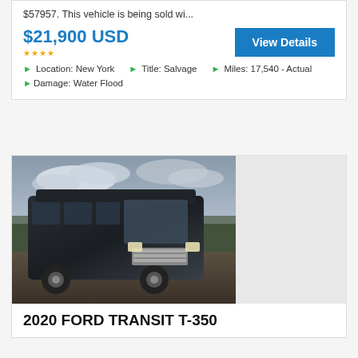$57957. This vehicle is being sold wi...
$21,900 USD
View Details
Location: New York
Title: Salvage
Miles: 17,540 - Actual
Damage: Water Flood
[Figure (photo): Black Ford Transit T-350 van photographed outdoors on a gravel lot with trees and cloudy sky in background]
2020 FORD TRANSIT T-350